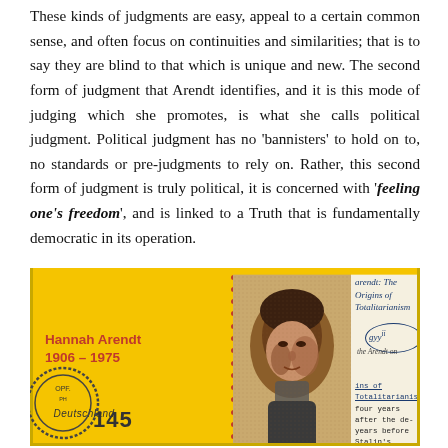These kinds of judgments are easy, appeal to a certain common sense, and often focus on continuities and similarities; that is to say they are blind to that which is unique and new. The second form of judgment that Arendt identifies, and it is this mode of judging which she promotes, is what she calls political judgment. Political judgment has no 'bannisters' to hold on to, no standards or pre-judgments to rely on. Rather, this second form of judgment is truly political, it is concerned with 'feeling one's freedom', and is linked to a Truth that is fundamentally democratic in its operation.
[Figure (photo): A composite image resembling a German postage stamp featuring Hannah Arendt (1906-1975), with a yellow left section bearing her name in red and 'Deutschland 145', a middle portrait section showing a halftone photograph of Arendt, and a right section with handwritten and typed text referencing 'The Origins of Totalitarianism'.]